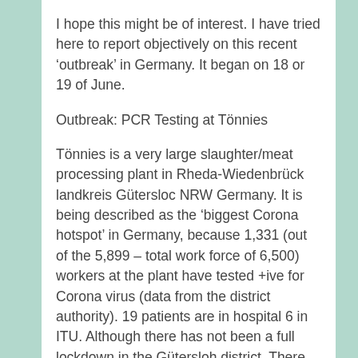I hope this might be of interest. I have tried here to report objectively on this recent ‘outbreak’ in Germany. It began on 18 or 19 of June.
Outbreak: PCR Testing at Tönnies
Tönnies is a very large slaughter/meat processing plant in Rheda-Wiedenbrück landkreis Gütersloc NRW Germany. It is being described as the ‘biggest Corona hotspot’ in Germany, because 1,331 (out of the 5,899 – total work force of 6,500) workers at the plant have tested +ive for Corona virus (data from the district authority). 19 patients are in hospital 6 in ITU. Although there has not been a full lockdown in the Gütersloh district. There is, according to NRW Prime Minister Armin Laschet; ‘an enormous pandemic risk, The infection process is clearly localizable at the company Tönnies, and there is no